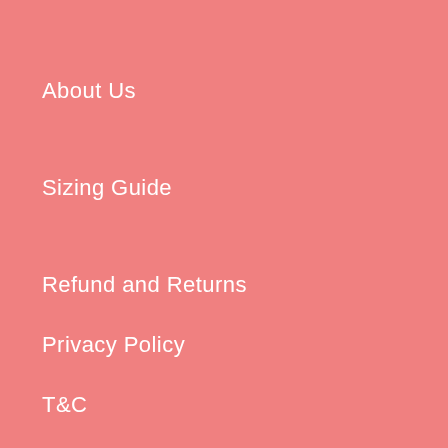About Us
Sizing Guide
Refund and Returns
Privacy Policy
T&C
Contact Us
Shipping Policy